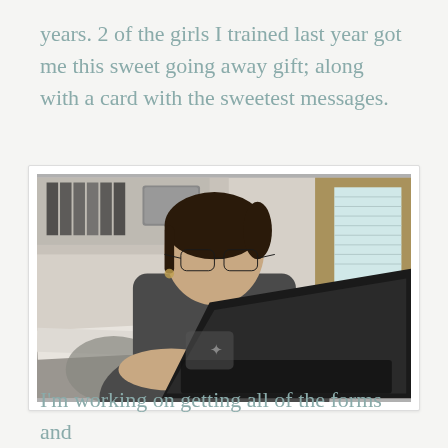years. 2 of the girls I trained last year got me this sweet going away gift; along with a card with the sweetest messages.
[Figure (photo): A woman with glasses and dark hair pulled back, wearing a dark grey t-shirt, sitting at a desk working on a laptop. The desk has papers scattered on it. Behind her are shelves with binders and a window with white blinds.]
I'm working on getting all of the forms and